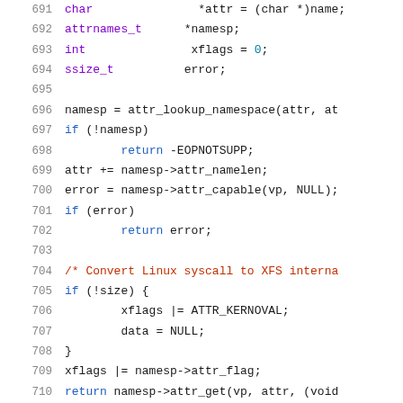[Figure (screenshot): Source code listing showing lines 691-712 of a C source file, featuring syntax-highlighted code related to XFS attribute handling. Lines show variable declarations (char, attrnames_t, int, ssize_t), namespace lookup, capability checks, and attribute get operations.]